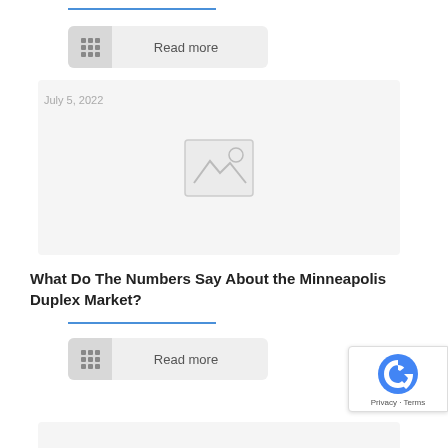[Figure (other): Blue horizontal divider line at top]
[Figure (other): Read more button with grid icon]
July 5, 2022
[Figure (photo): Image placeholder card with mountain/landscape icon]
What Do The Numbers Say About the Minneapolis Duplex Market?
[Figure (other): Blue horizontal divider line]
[Figure (other): Read more button with grid icon]
[Figure (other): reCAPTCHA badge with Privacy and Terms links]
[Figure (other): Bottom card partial view]